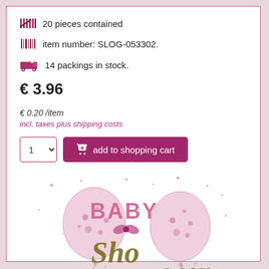20 pieces contained
item number: SLOG-053302.
14 packings in stock.
€ 3.96
€ 0.20 /item
incl. taxes plus shipping costs
[Figure (illustration): Baby shower decorative illustration with pink balloons, stars, and cursive text reading 'Baby Shower']